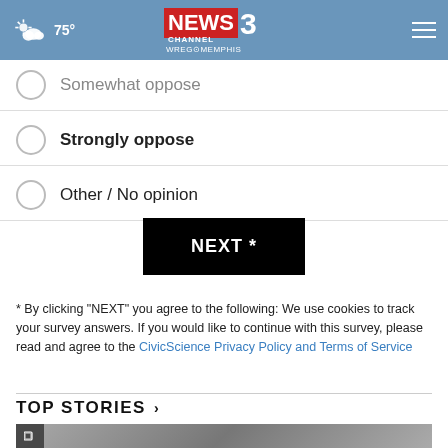75° NEWS CHANNEL 3 WREG MEMPHIS
Somewhat oppose
Strongly oppose
Other / No opinion
NEXT *
* By clicking "NEXT" you agree to the following: We use cookies to track your survey answers. If you would like to continue with this survey, please read and agree to the CivicScience Privacy Policy and Terms of Service
TOP STORIES ›
[Figure (photo): A news story thumbnail image with a video icon overlay and an advertisement banner for SavedByTheScan.org with American Lung Association branding]